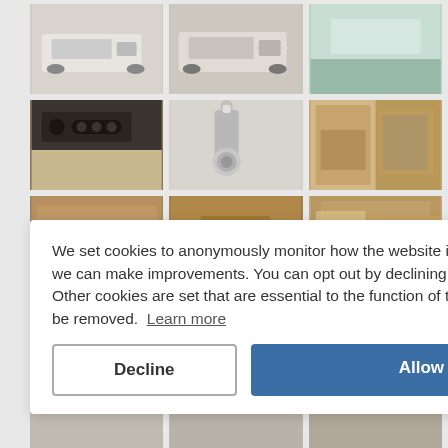[Figure (photo): Grid of 9 visible caravan/motorhome photos showing exterior vehicles, shower fixtures, kitchen appliances, wood interior panels, and living area interiors]
We set cookies to anonymously monitor how the website is being used so that we can make improvements. You can opt out by declining these cookies. Other cookies are set that are essential to the function of the website and can't be removed. Learn more